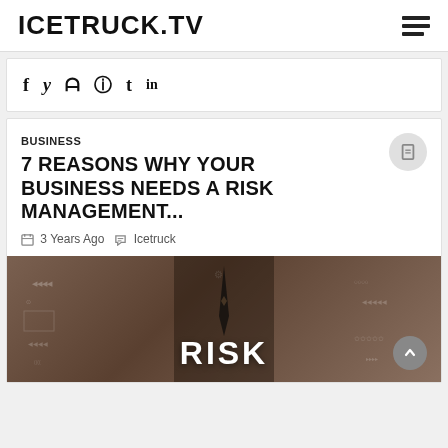ICETRUCK.TV
f  y  reddit  pinterest  t  in
BUSINESS
7 REASONS WHY YOUR BUSINESS NEEDS A RISK MANAGEMENT...
3 Years Ago  Icetruck
[Figure (photo): Business man in suit with RISK text overlaid on a dark tech-themed background with charts and arrows]